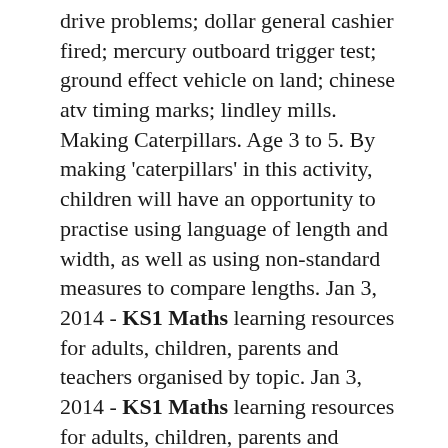drive problems; dollar general cashier fired; mercury outboard trigger test; ground effect vehicle on land; chinese atv timing marks; lindley mills. Making Caterpillars. Age 3 to 5. By making 'caterpillars' in this activity, children will have an opportunity to practise using language of length and width, as well as using non-standard measures to compare lengths. Jan 3, 2014 - KS1 Maths learning resources for adults, children, parents and teachers organised by topic. Jan 3, 2014 - KS1 Maths learning resources for adults, children, parents and teachers organised by topic. Pinterest. Today. Explore. When the auto-complete results are available, use the up and down arrows to review and Enter to select. All the maths interactive activities and. The Regenerators Green Lessons; BBC Teach: KS1 Maths . what is a variable in computing bbc bitesize . Publicado